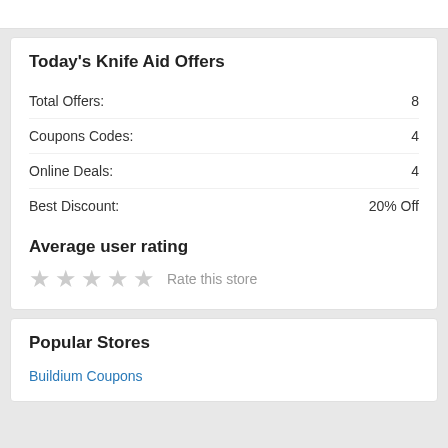Today's Knife Aid Offers
|  |  |
| --- | --- |
| Total Offers: | 8 |
| Coupons Codes: | 4 |
| Online Deals: | 4 |
| Best Discount: | 20% Off |
Average user rating
★ ★ ★ ★ ★  Rate this store
Popular Stores
Buildium Coupons